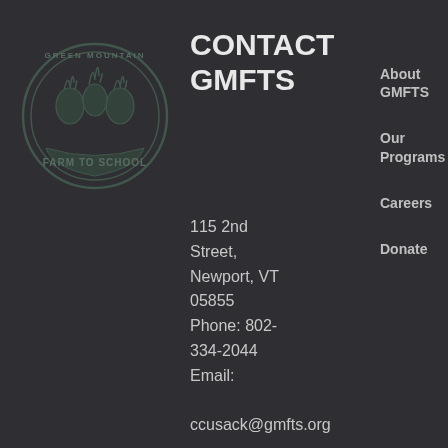[Figure (logo): Green Mountain Farm to School logo — circular emblem with farm scene, vegetables, and banner text 'FARM TO SCHOOL']
CONTACT GMFTS
About GMFTS
Our Programs
Careers
Donate
115 2nd Street, Newport, VT 05855
Phone: 802-334-2044
Email: ccusack@gmfts.org